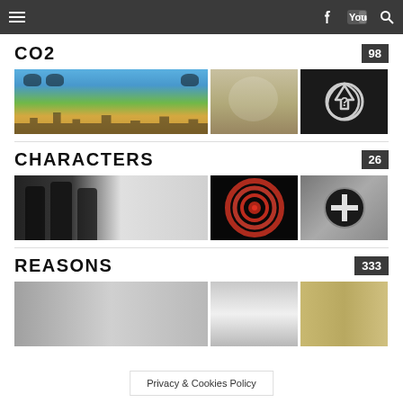Navigation bar with menu, Facebook, YouTube, and Search icons
CO2 98
[Figure (photo): Three thumbnail images for CO2 category: footprints on globe, historical scene, recycling question mark]
CHARACTERS 26
[Figure (photo): Three thumbnail images for CHARACTERS category: men in suits, red spiral pattern, black and white swastika badge with man]
REASONS 333
[Figure (photo): Three thumbnail images for REASONS category: gray misty scene, white figure in city, desert scene with sign]
Privacy & Cookies Policy